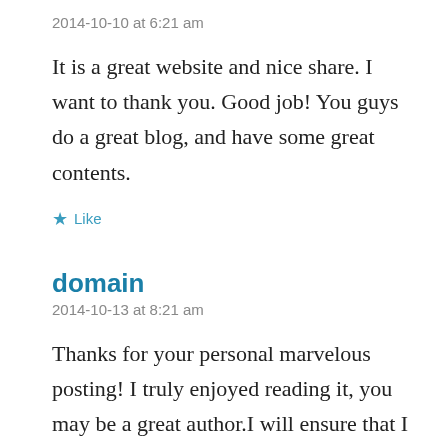2014-10-10 at 6:21 am
It is a great website and nice share. I want to thank you. Good job! You guys do a great blog, and have some great contents.
★ Like
domain
2014-10-13 at 8:21 am
Thanks for your personal marvelous posting! I truly enjoyed reading it, you may be a great author.I will ensure that I bookmark your blog and definitely will come